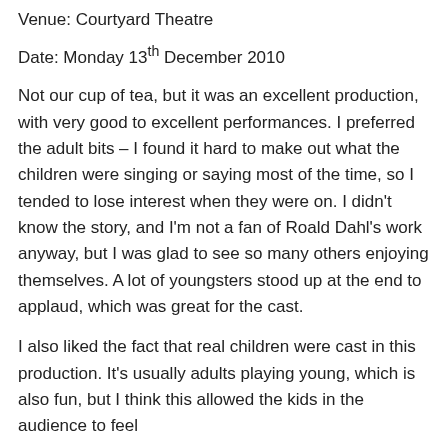Venue: Courtyard Theatre
Date: Monday 13th December 2010
Not our cup of tea, but it was an excellent production, with very good to excellent performances. I preferred the adult bits – I found it hard to make out what the children were singing or saying most of the time, so I tended to lose interest when they were on. I didn't know the story, and I'm not a fan of Roald Dahl's work anyway, but I was glad to see so many others enjoying themselves. A lot of youngsters stood up at the end to applaud, which was great for the cast.
I also liked the fact that real children were cast in this production. It's usually adults playing young, which is also fun, but I think this allowed the kids in the audience to feel